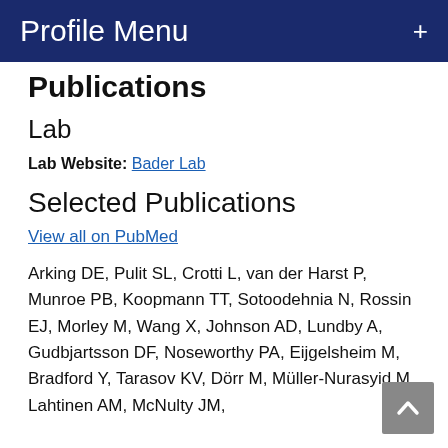Profile Menu +
Publications
Lab
Lab Website: Bader Lab
Selected Publications
View all on PubMed
Arking DE, Pulit SL, Crotti L, van der Harst P, Munroe PB, Koopmann TT, Sotoodehnia N, Rossin EJ, Morley M, Wang X, Johnson AD, Lundby A, Gudbjartsson DF, Noseworthy PA, Eijgelsheim M, Bradford Y, Tarasov KV, Dörr M, Müller-Nurasyid M, Lahtinen AM, McNulty JM,...